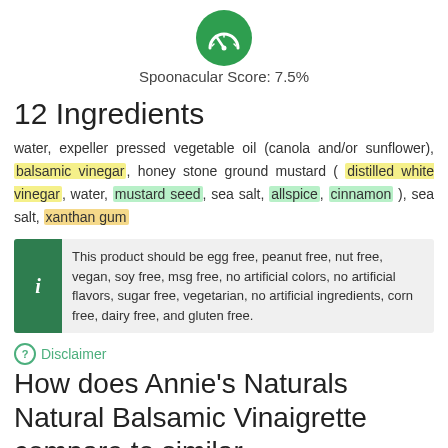[Figure (infographic): Green circle with white dashboard/speedometer icon representing Spoonacular Score]
Spoonacular Score: 7.5%
12 Ingredients
water, expeller pressed vegetable oil (canola and/or sunflower), balsamic vinegar, honey stone ground mustard (distilled white vinegar, water, mustard seed, sea salt, allspice, cinnamon), sea salt, xanthan gum
This product should be egg free, peanut free, nut free, vegan, soy free, msg free, no artificial colors, no artificial flavors, sugar free, vegetarian, no artificial ingredients, corn free, dairy free, and gluten free.
Disclaimer
How does Annie's Naturals Natural Balsamic Vinaigrette compare to similar products?